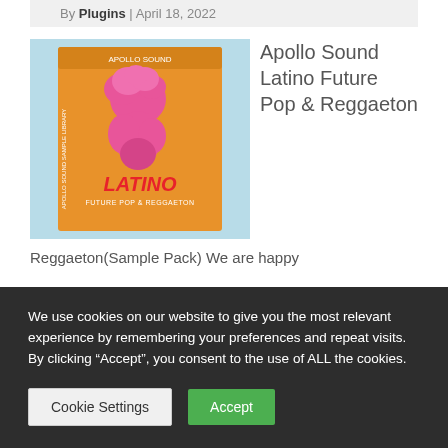By Plugins | April 18, 2022
[Figure (photo): Apollo Sound Latino Future Pop & Reggaeton sample pack product image — orange cover with pink fluffy figure and text LATINO FUTURE POP & REGGAETON]
Apollo Sound Latino Future Pop & Reggaeton(Sample Pack) We are happy
We use cookies on our website to give you the most relevant experience by remembering your preferences and repeat visits. By clicking “Accept”, you consent to the use of ALL the cookies.